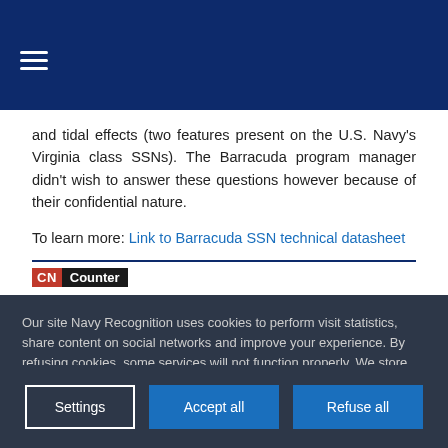Navigation bar with hamburger menu
and tidal effects (two features present on the U.S. Navy's Virginia class SSNs). The Barracuda program manager didn't wish to answer these questions however because of their confidential nature.
To learn more: Link to Barracuda SSN technical datasheet
CN Counter
Our site Navy Recognition uses cookies to perform visit statistics, share content on social networks and improve your experience. By refusing cookies, some services will not function properly. We store your choice for 30 days. You can change your mind by clicking on the 'Cookies' button at the bottom left of every page of our site. Learn more
Settings | Accept all | Refuse all